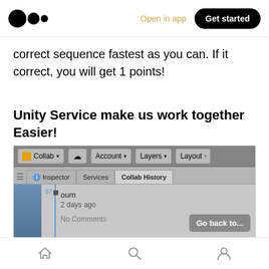Medium logo | Open in app | Get started
correct sequence fastest as you can. If it correct, you will get 1 points!
Unity Service make us work together Easier!
[Figure (screenshot): Unity editor screenshot showing Collab History panel with a commit by 'oum' from 2 days ago with No Comments, a 'Go back to...' button, and '4 Asset changes' in the footer.]
Home | Search | Profile navigation icons